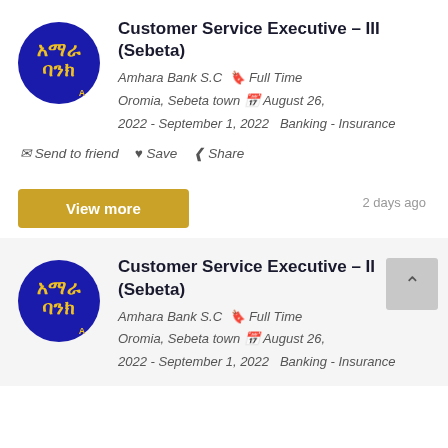[Figure (logo): Amhara Bank circular logo — blue circle with yellow Ethiopic/Amharic text]
Customer Service Executive – III (Sebeta)
Amhara Bank S.C   Full Time   Oromia, Sebeta town   August 26, 2022 - September 1, 2022   Banking - Insurance
Send to friend   Save   Share
View more   2 days ago
[Figure (logo): Amhara Bank circular logo — blue circle with yellow Ethiopic/Amharic text]
Customer Service Executive – II (Sebeta)
Amhara Bank S.C   Full Time   Oromia, Sebeta town   August 26, 2022 - September 1, 2022   Banking - Insurance